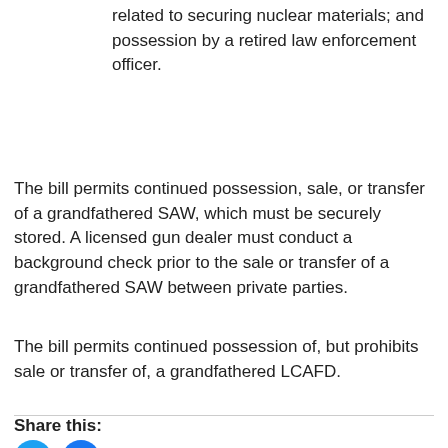related to securing nuclear materials; and possession by a retired law enforcement officer.
The bill permits continued possession, sale, or transfer of a grandfathered SAW, which must be securely stored. A licensed gun dealer must conduct a background check prior to the sale or transfer of a grandfathered SAW between private parties.
The bill permits continued possession of, but prohibits sale or transfer of, a grandfathered LCAFD.
Share this: